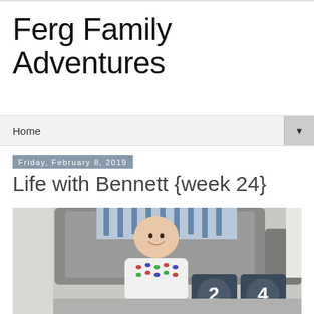Ferg Family Adventures
Home
Friday, February 8, 2019
Life with Bennett {week 24}
[Figure (photo): A smiling baby sitting in front of a grey upholstered chair, wearing a colorful smocked outfit. The baby is positioned in front of two dark square blocks showing the numbers 2 and 4. A blue and white patterned blanket is visible draped over the chair in the background.]